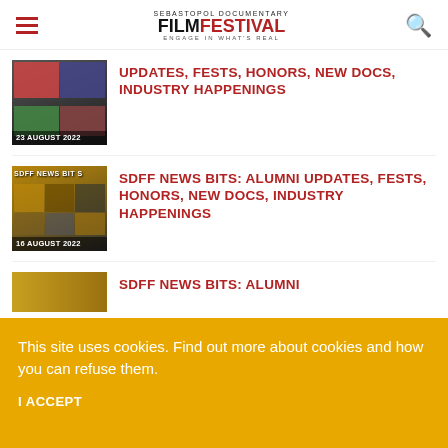Sebastopol Documentary Film Festival — Engage in What's Real
[Figure (photo): Thumbnail image for article dated 23 August 2022]
UPDATES, FESTS, HONORS, NEW DOCS, INDUSTRY HAPPENINGS
[Figure (photo): Thumbnail image for SDFF News Bits article dated 16 August 2022, with text 'SDFF NEWS BITS']
SDFF NEWS BITS: ALUMNI UPDATES, FESTS, HONORS, NEW DOCS, INDUSTRY HAPPENINGS
[Figure (photo): Partial thumbnail image for another SDFF News Bits article]
SDFF NEWS BITS: ALUMNI
This site uses cookies. Find out more about cookies and how you can refuse them.
I ACCEPT